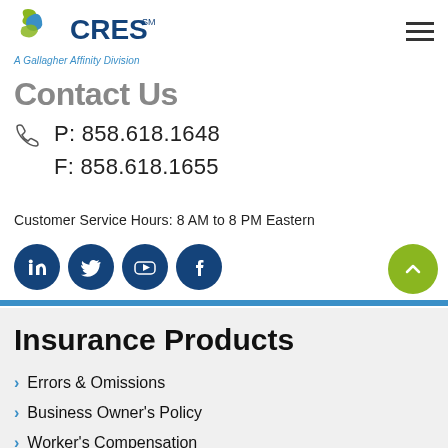CRES — A Gallagher Affinity Division
Contact Us
P: 858.618.1648
F: 858.618.1655
Customer Service Hours: 8 AM to 8 PM Eastern
[Figure (infographic): Social media icons: LinkedIn, Twitter, YouTube, Facebook — dark navy circles with white logos]
Insurance Products
Errors & Omissions
Business Owner's Policy
Worker's Compensation